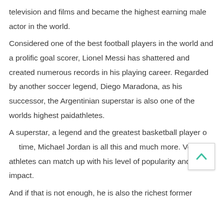television and films and became the highest earning male actor in the world.
Considered one of the best football players in the world and a prolific goal scorer, Lionel Messi has shattered and created numerous records in his playing career. Regarded by another soccer legend, Diego Maradona, as his successor, the Argentinian superstar is also one of the worlds highest paidathletes.
A superstar, a legend and the greatest basketball player of all time, Michael Jordan is all this and much more. Very few athletes can match up with his level of popularity and impact.
And if that is not enough, he is also the richest former